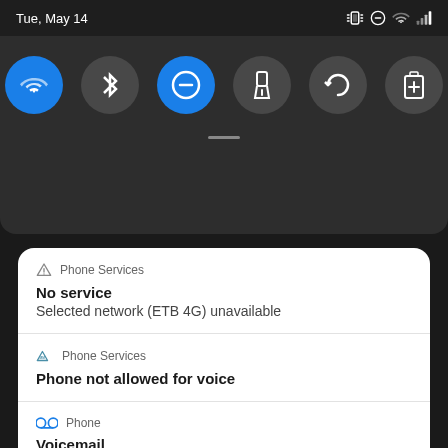[Figure (screenshot): Android status bar showing date 'Tue, May 14' on the left and system icons (vibrate, do not disturb, wifi, signal) on the right]
[Figure (screenshot): Android quick settings panel with 6 toggle icons: WiFi (active/blue), Bluetooth, Do Not Disturb (active/blue), Flashlight, Auto-rotate, Battery Saver]
Phone Services
No service
Selected network (ETB 4G) unavailable
Phone Services
Phone not allowed for voice
Phone
Voicemail
Dial *123